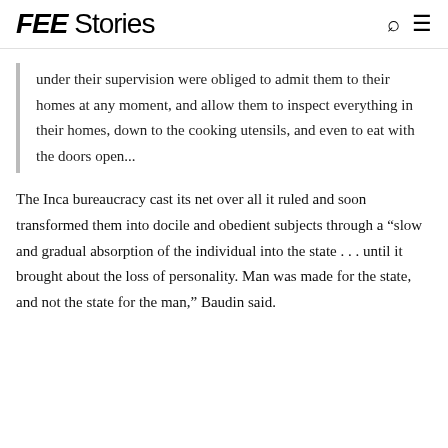FEE Stories
under their supervision were obliged to admit them to their homes at any moment, and allow them to inspect everything in their homes, down to the cooking utensils, and even to eat with the doors open...
The Inca bureaucracy cast its net over all it ruled and soon transformed them into docile and obedient subjects through a “slow and gradual absorption of the individual into the state . . . until it brought about the loss of personality. Man was made for the state, and not the state for the man,” Baudin said.